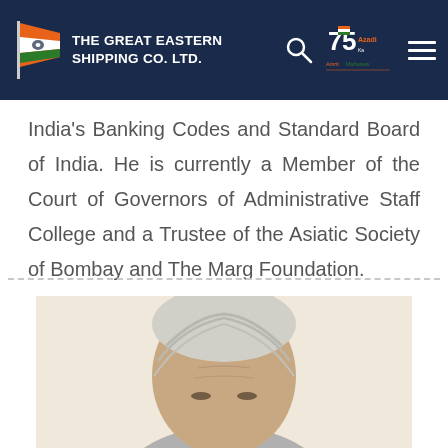THE GREAT EASTERN SHIPPING CO. LTD.
India's Banking Codes and Standard Board of India. He is currently a Member of the Court of Governors of Administrative Staff College and a Trustee of the Asiatic Society of Bombay and The Marg Foundation.
[Figure (photo): Portrait photograph of an elderly person with white/grey hair, face partially visible, against a light beige background.]